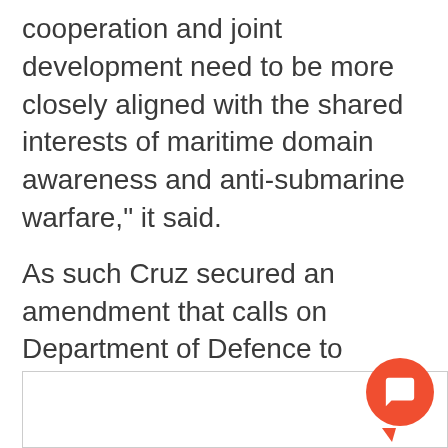cooperation and joint development need to be more closely aligned with the shared interests of maritime domain awareness and anti-submarine warfare," it said.
As such Cruz secured an amendment that calls on Department of Defence to reassess its approach to partnering with India and to appoint an individual to oversee this process. The amendment came as China increased its maritime presence in the Indian Ocean by docking its ships at ports in Karachi and Colombo.